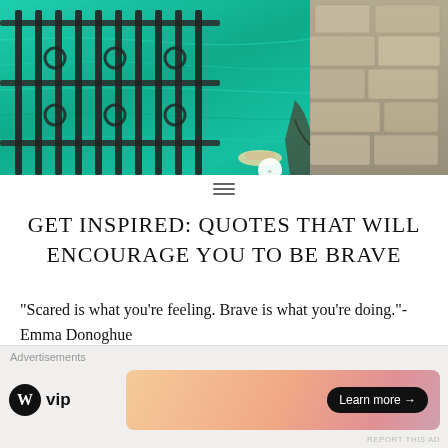[Figure (photo): Aerial view of turquoise/teal water with an ornate iron fence on the left and stone path/steps on the right]
Get Inspired: Quotes That Will Encourage You To Be Brave
“Scared is what you’re feeling. Brave is what you’re doing.”-Emma Donoghue